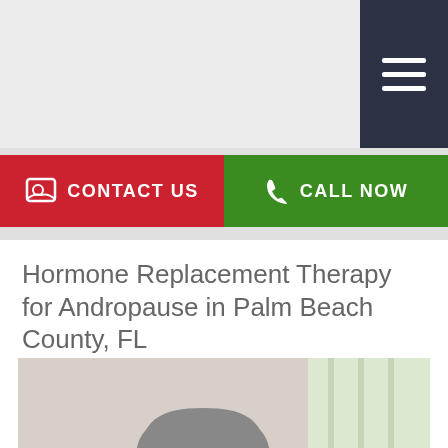Navigation menu (hamburger icon)
CONTACT US
CALL NOW
Hormone Replacement Therapy for Andropause in Palm Beach County, FL
[Figure (photo): Middle-aged man with gray hair and glasses, wearing a dark red sweater, pinching the bridge of his nose with his eyes closed, appearing stressed or fatigued, standing near a window with blurred background.]